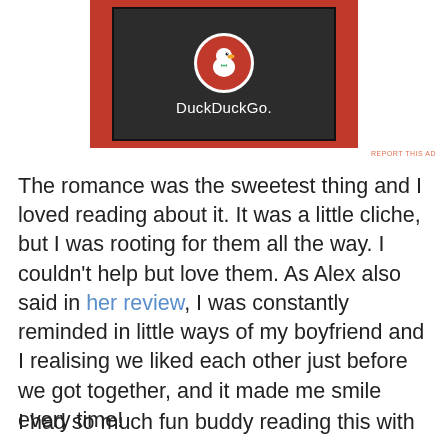[Figure (logo): DuckDuckGo advertisement banner showing the DuckDuckGo logo (duck icon in a red circle) on a dark background with orange/red side panels, and the wordmark 'DuckDuckGo.' in white text below]
REPORT THIS AD
The romance was the sweetest thing and I loved reading about it. It was a little cliche, but I was rooting for them all the way. I couldn't help but love them. As Alex also said in her review, I was constantly reminded in little ways of my boyfriend and I realising we liked each other just before we got together, and it made me smile every time!
I had so much fun buddy reading this with